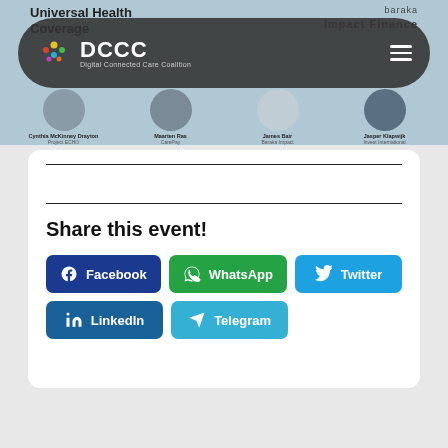[Figure (screenshot): Website screenshot showing DCCC (Digital Connected Care Coalition) navigation bar and event banner with speaker photos. Speakers: Cynthia McKinney Drayton (Project ECHO), Maarten Ras (CarePay), James Bair (Baraka Impact), Jasper Klapwijk (Invest International). Banner titles: Universal Health Coverage and baraka Impact Finance.]
Share this event!
Facebook
WhatsApp
Twitter
LinkedIn
Telegram